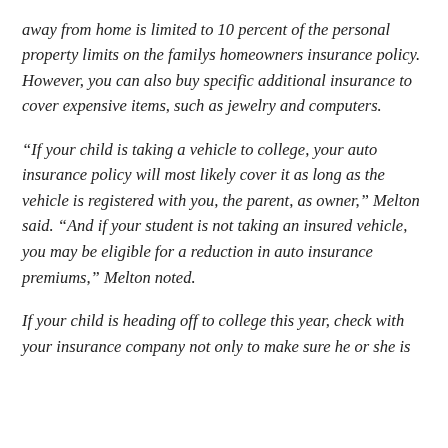away from home is limited to 10 percent of the personal property limits on the familys homeowners insurance policy. However, you can also buy specific additional insurance to cover expensive items, such as jewelry and computers.
“If your child is taking a vehicle to college, your auto insurance policy will most likely cover it as long as the vehicle is registered with you, the parent, as owner,” Melton said. “And if your student is not taking an insured vehicle, you may be eligible for a reduction in auto insurance premiums,” Melton noted.
If your child is heading off to college this year, check with your insurance company not only to make sure he or she is